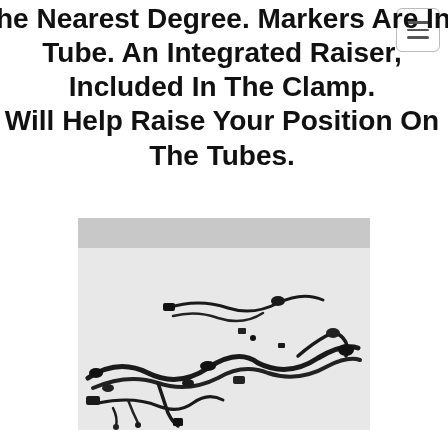he Nearest Degree. Markers Are Included On Eac Tube. An Integrated Raiser, Included In The Clamp. Will Help Raise Your Position On The Tubes.
[Figure (photo): Photo of a vehicle wiring harness laid out on a white surface, showing multiple black wire bundles, connectors, and plugs spread across the frame.]